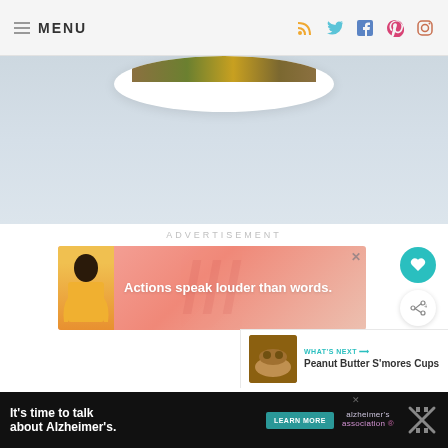MENU
[Figure (photo): Top portion of a white bowl containing a mixed grain or salad dish, on a light blue-grey background]
ADVERTISEMENT
[Figure (infographic): Pink advertisement banner with a person in yellow sweater and text 'Actions speak louder than words.']
WHAT'S NEXT → Peanut Butter S'mores Cups
[Figure (infographic): Bottom dark banner advertisement: It's time to talk about Alzheimer's. LEARN MORE. Alzheimer's Association logo.]